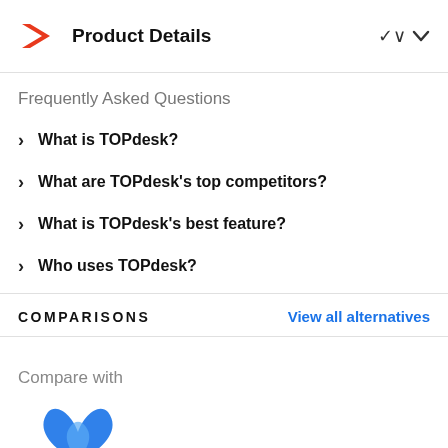Product Details
Frequently Asked Questions
What is TOPdesk?
What are TOPdesk's top competitors?
What is TOPdesk's best feature?
Who uses TOPdesk?
COMPARISONS
View all alternatives
Compare with
[Figure (logo): Blue butterfly/bird logo (Trustpilot or similar) and ServiceNow logo text]